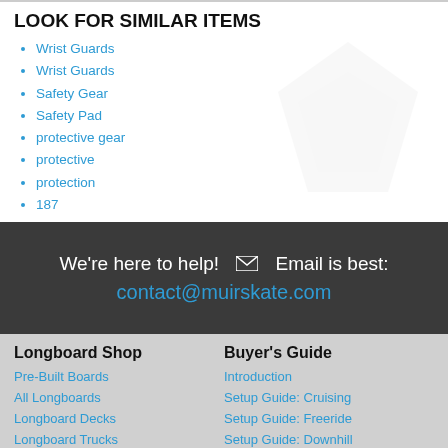LOOK FOR SIMILAR ITEMS
Wrist Guards
Wrist Guards
Safety Gear
Safety Pad
protective gear
protective
protection
187
We're here to help!  ✉  Email is best:
contact@muirskate.com
Longboard Shop
Pre-Built Boards
All Longboards
Longboard Decks
Longboard Trucks
Longboard Wheels
Longboard Bearings
Buyer's Guide
Introduction
Setup Guide: Cruising
Setup Guide: Freeride
Setup Guide: Downhill
Setup Guide: Kids
Bushing Guide